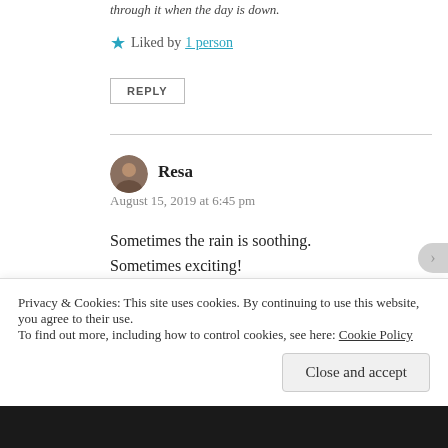through it when the day is down.
★ Liked by 1 person
REPLY
Resa
August 15, 2019 at 6:45 pm
Sometimes the rain is soothing.
Sometimes exciting!
Sometimes it refreshes.
My fave days have sun and clouds, not too hot so I can
Privacy & Cookies: This site uses cookies. By continuing to use this website, you agree to their use.
To find out more, including how to control cookies, see here: Cookie Policy
Close and accept